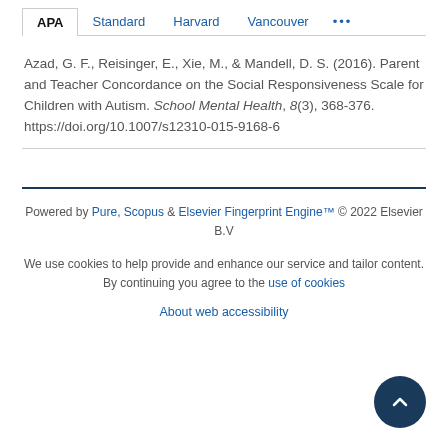APA | Standard | Harvard | Vancouver | ...
Azad, G. F., Reisinger, E., Xie, M., & Mandell, D. S. (2016). Parent and Teacher Concordance on the Social Responsiveness Scale for Children with Autism. School Mental Health, 8(3), 368-376. https://doi.org/10.1007/s12310-015-9168-6
Powered by Pure, Scopus & Elsevier Fingerprint Engine™ © 2022 Elsevier B.V
We use cookies to help provide and enhance our service and tailor content. By continuing you agree to the use of cookies
About web accessibility